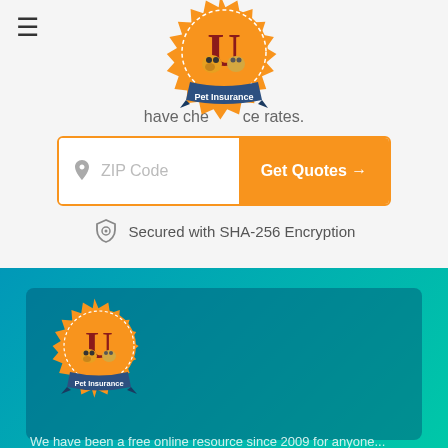[Figure (logo): Pet Insurance U logo — orange badge with large U letter, cartoon dog and cat, blue ribbon banner reading 'Pet Insurance']
have che...ce rates.
ZIP Code  Get Quotes →
Secured with SHA-256 Encryption
[Figure (logo): Pet Insurance U logo — smaller version on teal/blue gradient card background]
We have been a free online resource since 2009 for anyone...